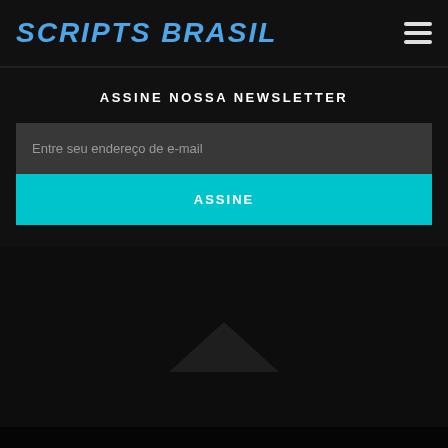SCRIPTS BRASIL
ASSINE NOSSA NEWSLETTER
Entre seu endereço de e-mail
ASSINE